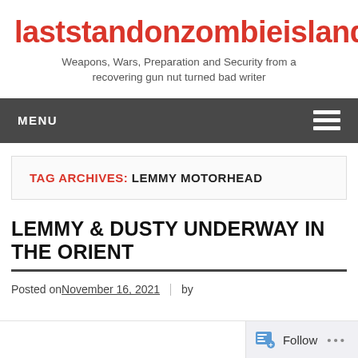laststandonzombieisland
Weapons, Wars, Preparation and Security from a recovering gun nut turned bad writer
MENU
TAG ARCHIVES: LEMMY MOTORHEAD
LEMMY & DUSTY UNDERWAY IN THE ORIENT
Posted on November 16, 2021 | by
Follow ...